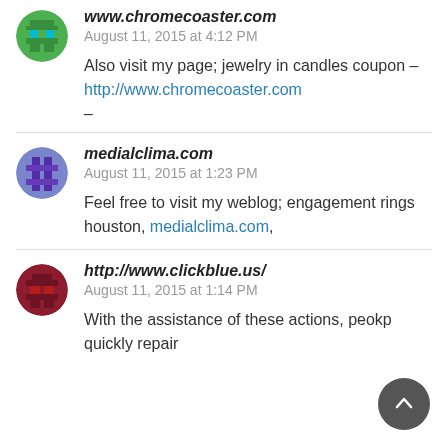[Figure (illustration): Green pixel/minecraft-style avatar icon, circular]
www.chromecoaster.com
August 11, 2015 at 4:12 PM
Also visit my page; jewelry in candles coupon –
http://www.chromecoaster.com
–
[Figure (illustration): Purple/maroon pixel-style avatar icon, circular]
medialclima.com
August 11, 2015 at 1:23 PM
Feel free to visit my weblog; engagement rings houston, medialclima.com,
[Figure (illustration): Dark red/maroon pixel-style avatar icon, circular]
http://www.clickblue.us/
August 11, 2015 at 1:14 PM
With the assistance of these actions, peokp quickly repair